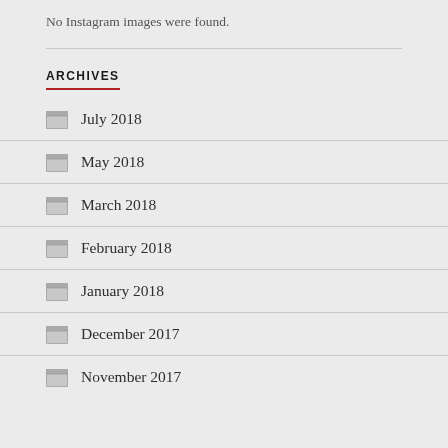No Instagram images were found.
ARCHIVES
July 2018
May 2018
March 2018
February 2018
January 2018
December 2017
November 2017